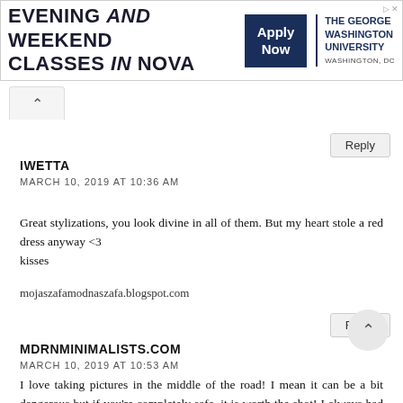[Figure (other): Advertisement banner for The George Washington University Evening and Weekend Classes in NOVA with 'Apply Now' button]
Reply
IWETTA
MARCH 10, 2019 AT 10:36 AM
Great stylizations, you look divine in all of them. But my heart stole a red dress anyway <3
kisses
mojaszafamodnaszafa.blogspot.com
Reply
MDRNMINIMALISTS.COM
MARCH 10, 2019 AT 10:53 AM
I love taking pictures in the middle of the road! I mean it can be a bit dangerous but if you're completely safe, it is worth the shot! I always had a hard time with taking pictures in a car. I like the idea of it!